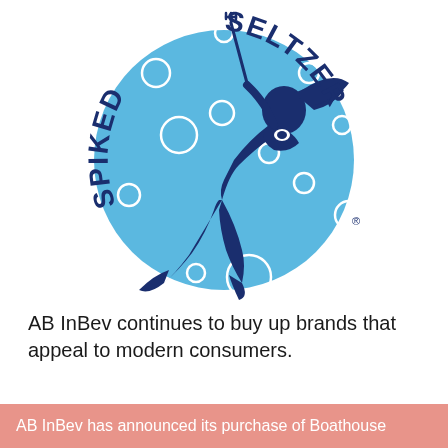[Figure (logo): Spiked Seltzer brand logo: a circular blue badge with a mermaid silhouette holding a trident, surrounded by bubbles, with 'SPIKED SELTZER' text arranged in an arc around the circle in dark navy blue letters.]
AB InBev continues to buy up brands that appeal to modern consumers.
AB InBev has announced its purchase of Boathouse